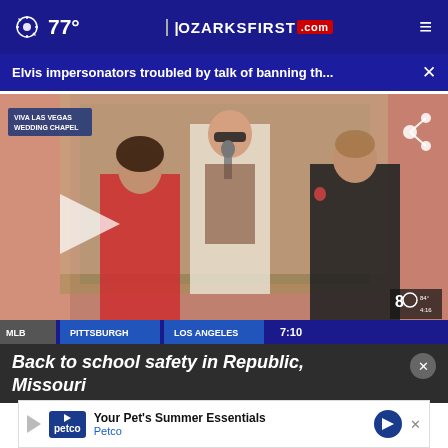77° | OZARKSFIRST.com | ≡
Elvis impersonators troubled by talk of banning th... ×
[Figure (screenshot): Video thumbnail of Elvis impersonator wedding chapel scene at Viva Las Vegas Wedding Chapel. Shows man in white suit with sunglasses holding microphone, woman in red dress, man in black jacket. Score ticker shows MLB PITTSBURGH LOS ANGELES 7:10. Channel 8 bug visible. Play button overlay on left side.]
Back to school safety in Republic, Missouri
[Figure (screenshot): Advertisement banner for Petco - Your Pet's Summer Essentials with Petco logo, navigation arrow icon, and small play button.]